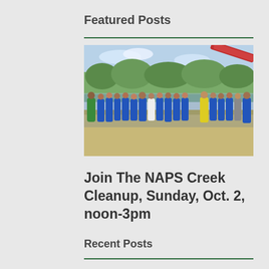Featured Posts
[Figure (photo): Group photo of volunteers wearing blue t-shirts standing on pavement near a waterway with trees in the background and a red conveyor belt visible in the upper right]
Join The NAPS Creek Cleanup, Sunday, Oct. 2, noon-3pm
Recent Posts